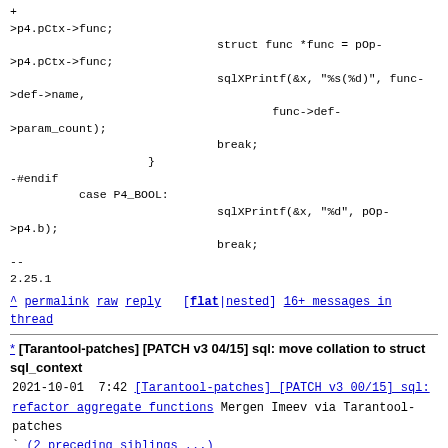+
>p4.pCtx->func;
                              struct func *func = pOp-
>p4.pCtx->func;
                              sqlXPrintf(&x, "%s(%d)", func-
>def->name,
                                      func->def-
>param_count);
                              break;
                    }
-#endif
          case P4_BOOL:
                              sqlXPrintf(&x, "%d", pOp-
>p4.b);
                              break;
--
2.25.1
^ permalink raw reply [flat|nested] 16+ messages in thread
* [Tarantool-patches] [PATCH v3 04/15] sql: move collation to struct sql_context
  2021-10-01  7:42  [Tarantool-patches] [PATCH v3 00/15] sql: refactor aggregate functions Mergen Imeev via Tarantool-patches
                     ` (2 preceding siblings ...)
  2021-10-01  7:42  ` [Tarantool-patches] [PATCH v3 03/15] sql: remove AggStep0 and OP BuiltinFunction0 Mergen Imeev via Tarantool-patches